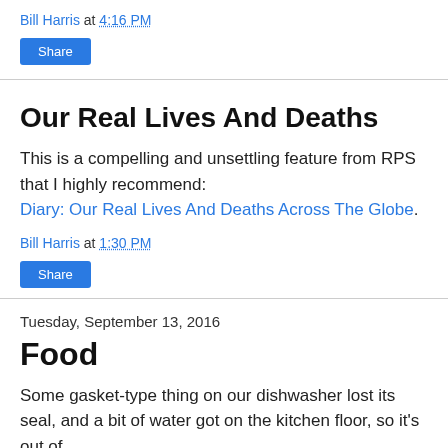Bill Harris at 4:16 PM
Share
Our Real Lives And Deaths
This is a compelling and unsettling feature from RPS that I highly recommend:
Diary: Our Real Lives And Deaths Across The Globe.
Bill Harris at 1:30 PM
Share
Tuesday, September 13, 2016
Food
Some gasket-type thing on our dishwasher lost its seal, and a bit of water got on the kitchen floor, so it's out of